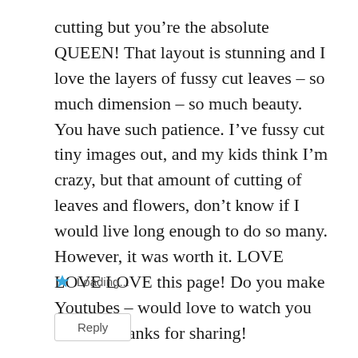cutting but you’re the absolute QUEEN! That layout is stunning and I love the layers of fussy cut leaves – so much dimension – so much beauty. You have such patience. I’ve fussy cut tiny images out, and my kids think I’m crazy, but that amount of cutting of leaves and flowers, don’t know if I would live long enough to do so many. However, it was worth it. LOVE LOVE LOVE this page! Do you make Youtubes – would love to watch you create? Thanks for sharing!
Loading...
Reply